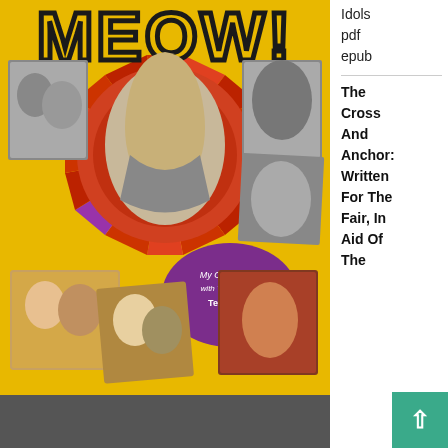[Figure (photo): Book cover of 'MEOW! My Groovy Life with Tiger Beat's Teen Idols'. Yellow background with the title MEOW! in large bubble letters at the top. Central image of a blonde woman in a circular radial pattern. Surrounding collage of black-and-white and color photos of various teen idols and the author. A purple oval badge reads 'My Groovy Life with Tiger Beat's Teen Idols'.]
Idols
pdf
epub
The Cross And Anchor: Written For The Fair, In Aid Of The